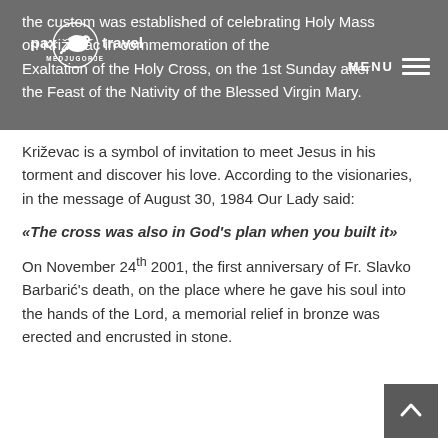the custom was established of celebrating Holy Mass on Križevac in commemoration of the Exaltation of the Holy Cross, on the 1st Sunday after the Feast of the Nativity of the Blessed Virgin Mary.
[Figure (logo): Pax Travel Medjugorje logo — white dove graphic with 'pax travel' text and 'MEDJUGORJE' subtitle]
Križevac is a symbol of invitation to meet Jesus in his torment and discover his love. According to the visionaries, in the message of August 30, 1984 Our Lady said:
«The cross was also in God's plan when you built it»
On November 24th 2001, the first anniversary of Fr. Slavko Barbarić's death, on the place where he gave his soul into the hands of the Lord, a memorial relief in bronze was erected and encrusted in stone.